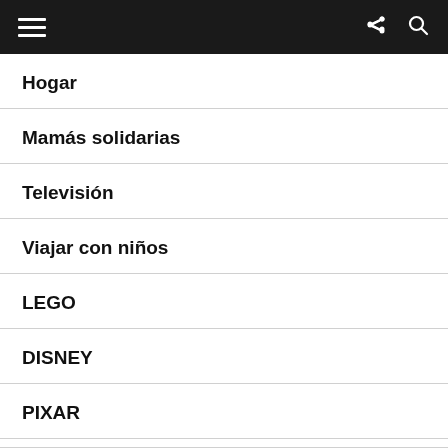Navigation menu header bar
Hogar
Mamás solidarias
Televisión
Viajar con niños
LEGO
DISNEY
PIXAR
STAR WARS